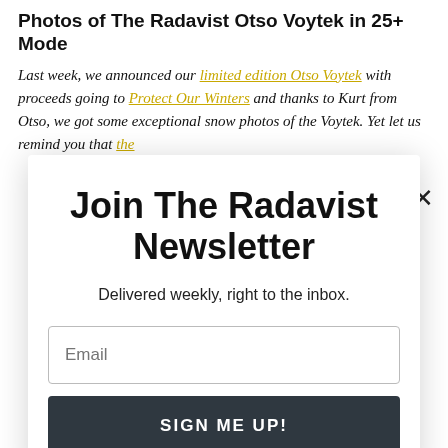Photos of The Radavist Otso Voytek in 25+ Mode
Last week, we announced our limited edition Otso Voytek with proceeds going to Protect Our Winters and thanks to Kurt from Otso, we got some exceptional snow photos of the Voytek. Yet let us remind you that the
Join The Radavist Newsletter
Delivered weekly, right to the inbox.
Email
SIGN ME UP!